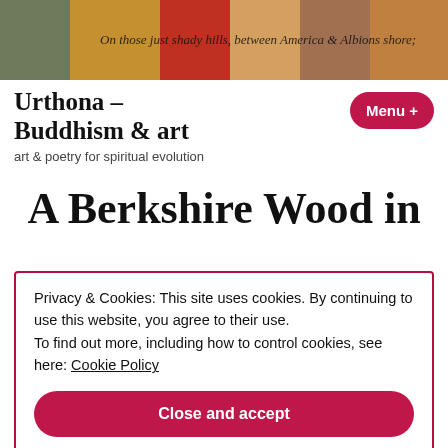[Figure (illustration): Colorful painting/artwork banner image with text partially visible reading 'On those just shady hills between America & Albion's shore;']
Urthona – Buddhism & art
art & poetry for spiritual evolution
A Berkshire Wood in
Privacy & Cookies: This site uses cookies. By continuing to use this website, you agree to their use. To find out more, including how to control cookies, see here: Cookie Policy
Close and accept
through the heavy feast of rain soaked boughs, green